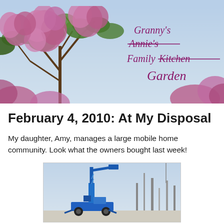[Figure (photo): Blog banner header showing pink/purple lilac bush against blue sky with cursive text reading Granny's Annie's Family Kitchen Garden]
February 4, 2010: At My Disposal
My daughter, Amy, manages a large mobile home community. Look what the owners bought last week!
[Figure (photo): Photo of a blue boom lift / cherry picker vehicle photographed outdoors]